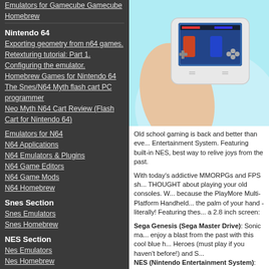Emulators for Gamecube Gamecube Homebrew
Nintendo 64
Exporting geometry from n64 games.
Retexturing tutorial: Part 1. Configuring the emulator.
Homebrew Games for Nintendo 64
The Snes/N64 Myth flash cart PC programmer
Neo Myth N64 Cart Review (Flash Cart for Nintendo 64)
Emulators for N64
N64 Applications
N64 Emulators & Plugins
N64 Game Editors
N64 Game Mods
N64 Homebrew
Snes Section
Snes Emulators
Snes Homebrew
NES Section
Nes Emulators
Nes Homebrew
GBA Links
GBA Roms
GBA/Nintendo Movie Player Firmware
[Figure (photo): Hand holding a handheld gaming device with a screen showing a fighting game, against a light blue background]
Old school gaming is back and better than ever. Entertainment System. Featuring built-in NES, best way to relive joys from the past.
With today's addictive MMORPGs and FPS sh... THOUGHT about playing your old consoles. W... because the PlayMore Multi-Platform Handheld... the palm of your hand - literally! Featuring thes... a 2.8 inch screen:
Sega Genesis (Sega Master Drive): Sonic ma... enjoy a blast from the past with this cool blue h... Heroes (must play if you haven't before!) and S... NES (Nintendo Entertainment System): Exp... again, or have your kids tackle it on to let know... ...the NES has...